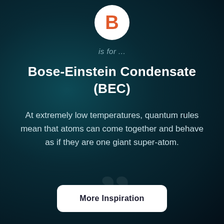[Figure (logo): White circle with orange letter B]
is for ...
Bose-Einstein Condensate (BEC)
At extremely low temperatures, quantum rules mean that atoms can come together and behave as if they are one giant super-atom.
More Inspiration